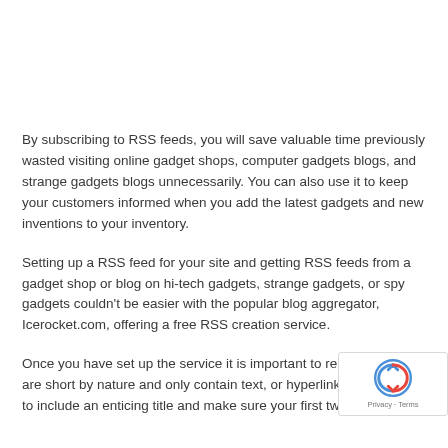By subscribing to RSS feeds, you will save valuable time previously wasted visiting online gadget shops, computer gadgets blogs, and strange gadgets blogs unnecessarily. You can also use it to keep your customers informed when you add the latest gadgets and new inventions to your inventory.
Setting up a RSS feed for your site and getting RSS feeds from a gadget shop or blog on hi-tech gadgets, strange gadgets, or spy gadgets couldn't be easier with the popular blog aggregator, Icerocket.com, offering a free RSS creation service.
Once you have set up the service it is important to remember feeds are short by nature and only contain text, or hyperlink is important to include an enticing title and make sure your first two